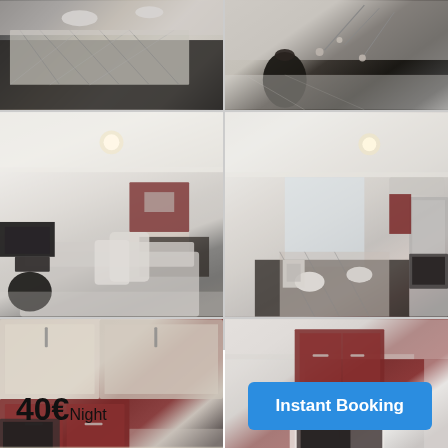[Figure (photo): Grid of 6 apartment interior photos showing living room with sofa and dining table, kitchen with dark/maroon cabinets, and open-plan views. Bottom bar shows price of 40€/Night and an Instant Booking button.]
40€Night
Instant Booking